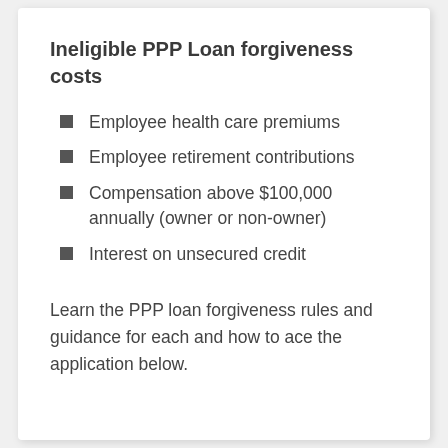Ineligible PPP Loan forgiveness costs
Employee health care premiums
Employee retirement contributions
Compensation above $100,000 annually (owner or non-owner)
Interest on unsecured credit
Learn the PPP loan forgiveness rules and guidance for each and how to ace the application below.